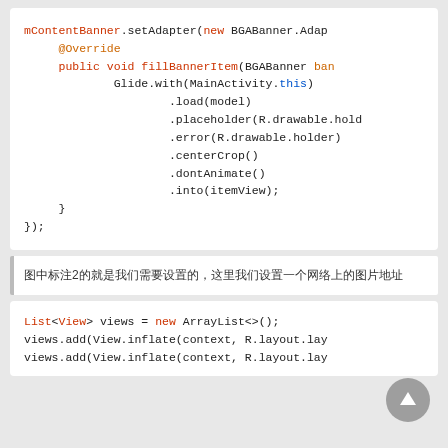mContentBanner.setAdapter(new BGABanner.Adap
    @Override
    public void fillBannerItem(BGABanner ban
            Glide.with(MainActivity.this)
                    .load(model)
                    .placeholder(R.drawable.hold
                    .error(R.drawable.holder)
                    .centerCrop()
                    .dontAnimate()
                    .into(itemView);
    }
});
图中标注2的就是我们需要设置的，这里我们设置一个网络上的图片地址
List<View> views = new ArrayList<>();
views.add(View.inflate(context, R.layout.lay
views.add(View.inflate(context, R.layout.lay